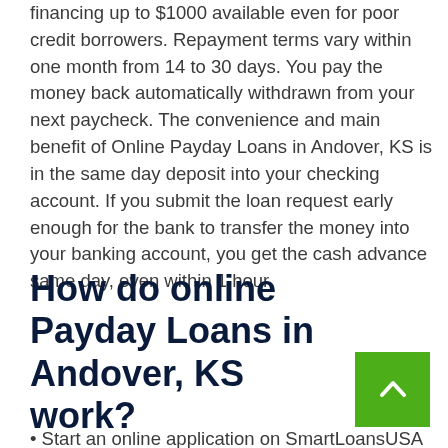financing up to $1000 available even for poor credit borrowers. Repayment terms vary within one month from 14 to 30 days. You pay the money back automatically withdrawn from your next paycheck. The convenience and main benefit of Online Payday Loans in Andover, KS is in the same day deposit into your checking account. If you submit the loan request early enough for the bank to transfer the money into your banking account, you get the cash advance same day, even within 1 hour.
How do online Payday Loans in Andover, KS work?
Start an online application on SmartLoansUSA now...